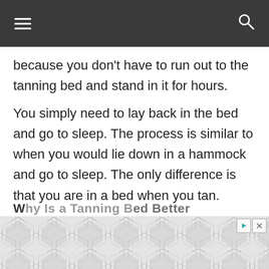≡  🔍
because you don't have to run out to the tanning bed and stand in it for hours.
You simply need to lay back in the bed and go to sleep. The process is similar to when you would lie down in a hammock and go to sleep. The only difference is that you are in a bed when you tan.
Why Is a Tanning Bed Better…
[Figure (other): Advertisement banner with hexagonal geometric pattern in grey tones, with play and close/dismiss buttons in top right corner.]